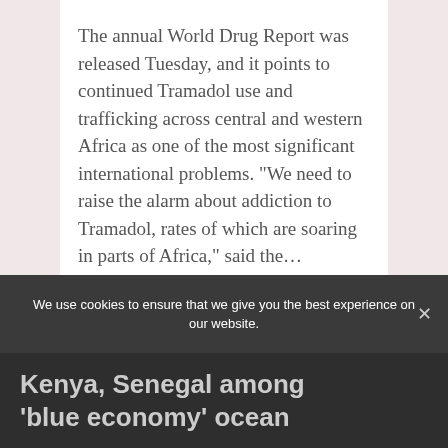The annual World Drug Report was released Tuesday, and it points to continued Tramadol use and trafficking across central and western Africa as one of the most significant international problems. “We need to raise the alarm about addiction to Tramadol, rates of which are soaring in parts of Africa,” said the…
Read More
AT editor
We use cookies to ensure that we give you the best experience on our website.
Ok
No
Privacy policy
Kenya, Senegal among ‘blue economy’ ocean